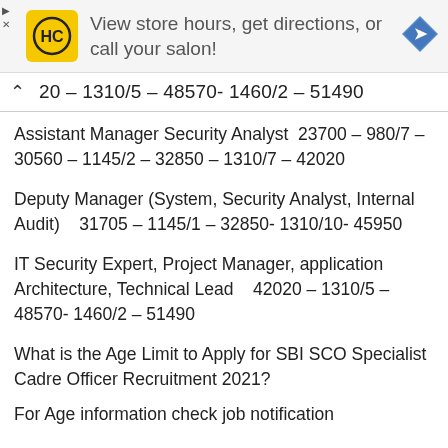[Figure (other): Advertisement banner with HC salon logo (yellow square with black HC letters), text 'View store hours, get directions, or call your salon!', a blue diamond direction arrow icon, and small skip/close icons at top left.]
20 – 1310/5 – 48570- 1460/2 – 51490
Assistant Manager Security Analyst  23700 – 980/7 – 30560 – 1145/2 – 32850 – 1310/7 – 42020
Deputy Manager (System, Security Analyst, Internal Audit)    31705 – 1145/1 – 32850- 1310/10- 45950
IT Security Expert, Project Manager, application Architecture, Technical Lead    42020 – 1310/5 – 48570- 1460/2 – 51490
What is the Age Limit to Apply for SBI SCO Specialist Cadre Officer Recruitment 2021?
For Age information check job notification